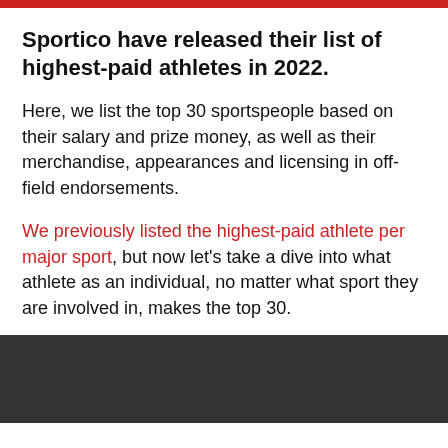Sportico have released their list of highest-paid athletes in 2022.
Here, we list the top 30 sportspeople based on their salary and prize money, as well as their merchandise, appearances and licensing in off-field endorsements.
We previously listed the highest-paid athlete per major sport, but now let's take a dive into what athlete as an individual, no matter what sport they are involved in, makes the top 30.
[Figure (photo): Dark grey/black image area at the bottom of the page]